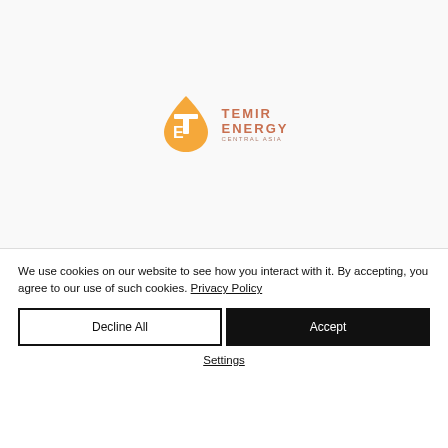[Figure (logo): Temir Energy Central Asia logo — orange water-drop teardrop shape with stylized TE letters inside, next to text TEMIR ENERGY CENTRAL ASIA]
We use cookies on our website to see how you interact with it. By accepting, you agree to our use of such cookies. Privacy Policy
Decline All
Accept
Settings